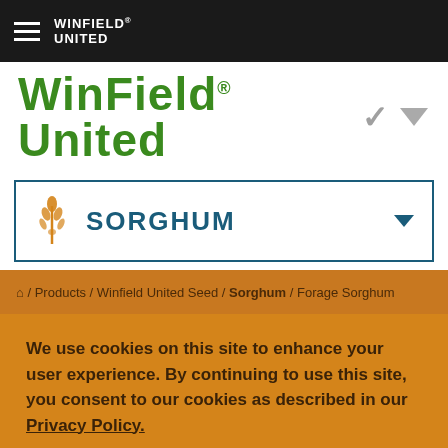WinField United
[Figure (logo): WinField United logo in green with registered trademark symbol]
SORGHUM
🏠 / Products / Winfield United Seed / Sorghum / Forage Sorghum
We use cookies on this site to enhance your user experience. By continuing to use this site, you consent to our cookies as described in our Privacy Policy.
OK